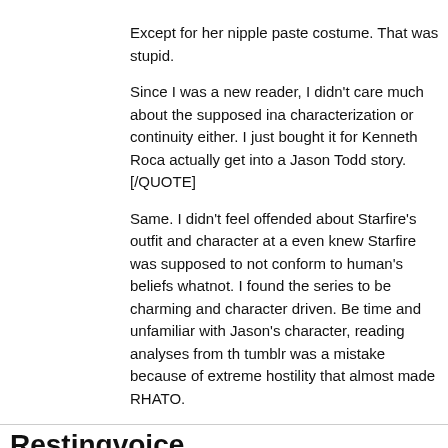Except for her nipple paste costume. That was stupid.
Since I was a new reader, I didn't care much about the supposed ina characterization or continuity either. I just bought it for Kenneth Roca actually get into a Jason Todd story.[/QUOTE]
Same. I didn't feel offended about Starfire's outfit and character at a even knew Starfire was supposed to not conform to human's beliefs whatnot. I found the series to be charming and character driven. Be time and unfamiliar with Jason's character, reading analyses from th tumblr was a mistake because of extreme hostility that almost made RHATO.
Restingvoice
I didn't know him either. I just recognize the art because he drew Superman Doomsday War right before New 52, which I think is bea looking. That book was the first time I found out about his name.
Anyway, despite New 52 being my first actual reading, I've heard ab interim between Hush and New 52. Among them was Morrison's Ba for The Cowl, and of course, Under The Red Hood.
This creates an image I have for Jason before reading it, that is an a